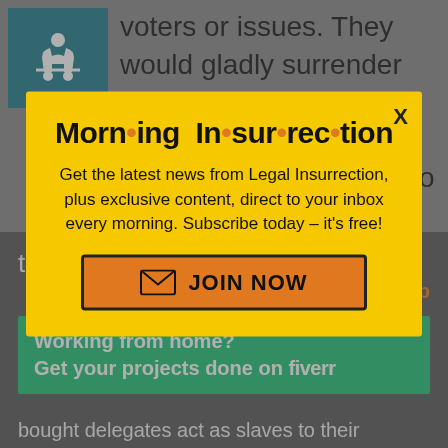voters or issues. They would gladly surrender on issues if it socially signaled that they were good people according to standards set by
[Figure (screenshot): Modal popup newsletter sign-up for Morning Insurrection on Legal Insurrection website, with yellow background, orange JOIN NOW button, over a gray website background with a Fiverr banner and secondary close button]
Working from home?
Get your projects done on fiverr
bought delegates act as slaves to their